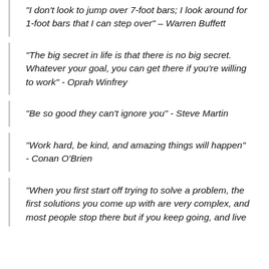“I don’t look to jump over 7-foot bars; I look around for 1-foot bars that I can step over” – Warren Buffett
“The big secret in life is that there is no big secret. Whatever your goal, you can get there if you’re willing to work” - Oprah Winfrey
“Be so good they can’t ignore you” - Steve Martin
“Work hard, be kind, and amazing things will happen” - Conan O’Brien
“When you first start off trying to solve a problem, the first solutions you come up with are very complex, and most people stop there but if you keep going, and live with the problem and peel more layers of the onion off, you can often times arrive at some very elegant and simple solutions”